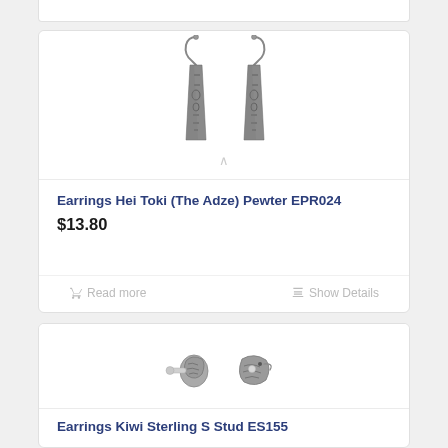[Figure (photo): Partial top of a product card showing the bottom edge of a previous product]
[Figure (photo): Silver pewter drop earrings - Hei Toki (The Adze) design, two elongated tapered pieces with ornate filigree patterns hanging from fish-hook wires]
Earrings Hei Toki (The Adze) Pewter EPR024
$13.80
Read more
Show Details
[Figure (photo): Sterling silver kiwi bird stud earrings - two small kiwi bird shaped studs, one showing the back post]
Earrings Kiwi Sterling S Stud ES155